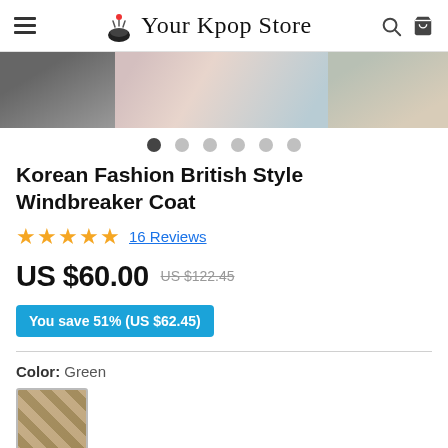Your Kpop Store
[Figure (photo): Product image strip showing windbreaker coat in different colors/models: dark grey, pink/blue, and beige sections]
Korean Fashion British Style Windbreaker Coat
★★★★★ 16 Reviews
US $60.00  US $122.45  You save 51% (US $62.45)
Color: Green
[Figure (photo): Small thumbnail of windbreaker coat in green/beige pattern]
Size: S